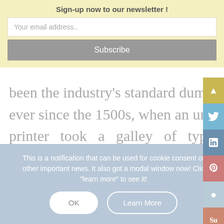Sign-up now to our newsletter !
Your email address..
Subscribe
been the industry's standard dummy t ever since the 1500s, when an unknown printer took a galley of type and scrambled it to make a type specimen book. It has survived not only five centuries, but also the leap into
This is a notification that can be used for cookie consent or other important news. It also got a modal window now! Click "learn more" to see it!
OK
Learn More